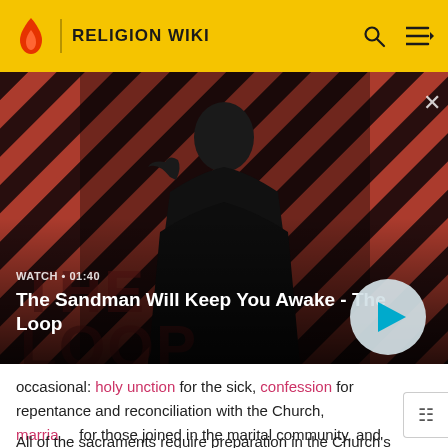RELIGION WIKI
[Figure (screenshot): Video thumbnail for 'The Sandman Will Keep You Awake - The Loop'. Shows a pale figure in black with a crow on shoulder against a red and dark diagonal striped background. Label reads WATCH • 01:40 with a play button.]
occasional: holy unction for the sick, confession for repentance and reconciliation with the Church, marriage for those joined in the marital community, and ordination for those called to serve the Church in holy orders.
All of the sacraments require preparation in the Church's